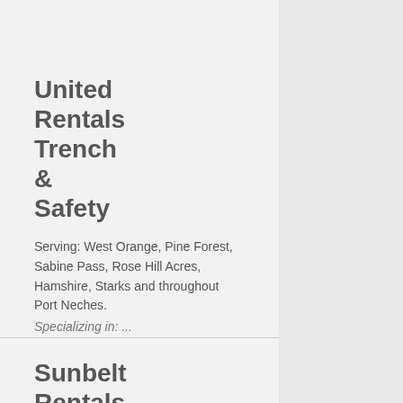United Rentals Trench & Safety
Serving: West Orange, Pine Forest, Sabine Pass, Rose Hill Acres, Hamshire, Starks and throughout Port Neches.
Specializing in: ...
Sunbelt Rentals Inc.